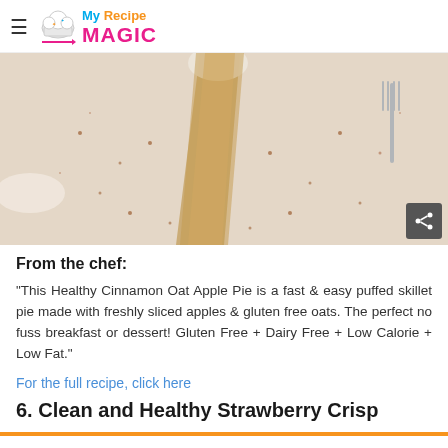My Recipe MAGIC
[Figure (photo): Close-up photo of a cinnamon oat apple pie slice on a white plate with cinnamon powder dusted around it and a fork visible in the background]
From the chef:
"This Healthy Cinnamon Oat Apple Pie is a fast & easy puffed skillet pie made with freshly sliced apples & gluten free oats. The perfect no fuss breakfast or dessert! Gluten Free + Dairy Free + Low Calorie + Low Fat."
For the full recipe, click here
6. Clean and Healthy Strawberry Crisp